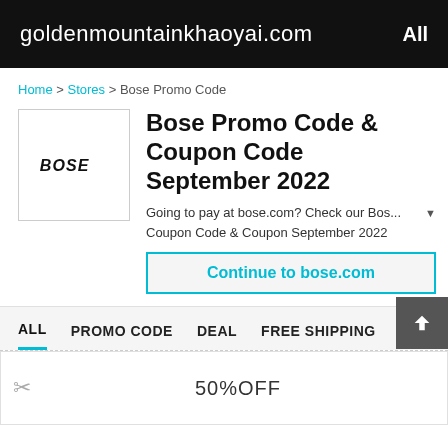goldenmountainkhaoyai.com   All
Home > Stores > Bose Promo Code
Bose Promo Code & Coupon Code September 2022
[Figure (logo): Bose brand logo in a white bordered box]
Going to pay at bose.com? Check our Bos... Coupon Code & Coupon September 2022
Continue to bose.com
ALL   PROMO CODE   DEAL   FREE SHIPPING
50%OFF